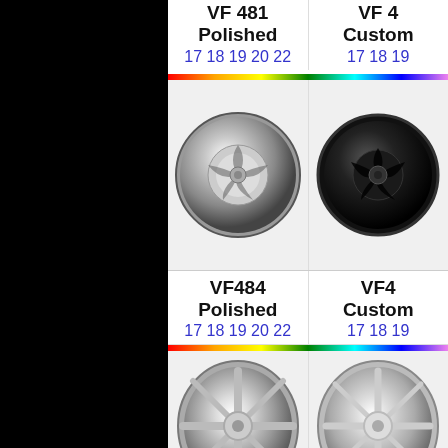VF481 Polished
17 18 19 20 22
VF4... Custom
17 18 19...
[Figure (photo): Polished chrome wheel VF481, round deep-dish style with spoke cutouts]
[Figure (photo): Black finish wheel VF4, round deep-dish style with spoke cutouts]
VF484 Polished
17 18 19 20 22
VF4... Custom
17 18 19...
[Figure (photo): Polished chrome wheel VF484, multi-spoke style]
[Figure (photo): Polished chrome wheel VF4, multi-spoke style, partial view]